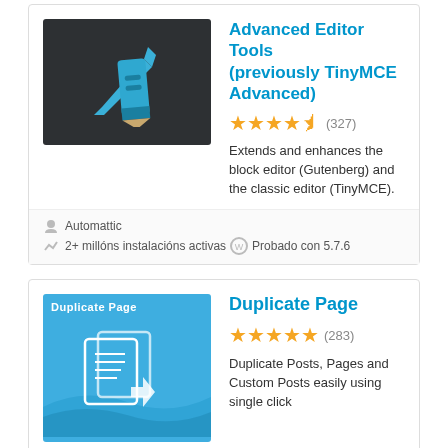[Figure (illustration): Plugin icon for Advanced Editor Tools on dark background with pencil/edit icon in blue]
Advanced Editor Tools (previously TinyMCE Advanced)
[Figure (other): 4.5 star rating (327 reviews)]
Extends and enhances the block editor (Gutenberg) and the classic editor (TinyMCE).
Automattic
2+ millóns instalacións activas   Probado con 5.7.6
[Figure (illustration): Duplicate Page plugin icon with blue background showing overlapping pages with arrow]
Duplicate Page
[Figure (other): 5 star rating (283 reviews)]
Duplicate Posts, Pages and Custom Posts easily using single click
mndpsingh287
2+ millóns instalación activas   Probado con 5.9.1